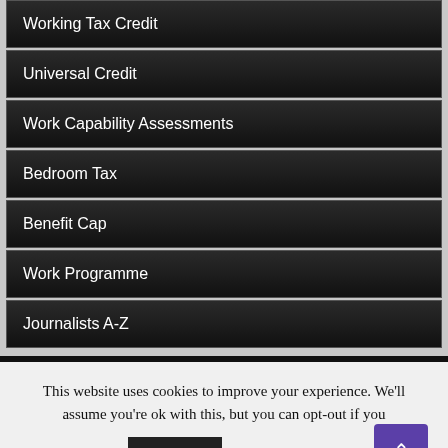Working Tax Credit
Universal Credit
Work Capability Assessments
Bedroom Tax
Benefit Cap
Work Programme
Journalists A-Z
This website uses cookies to improve your experience. We'll assume you're ok with this, but you can opt-out if you
Accept   Read More